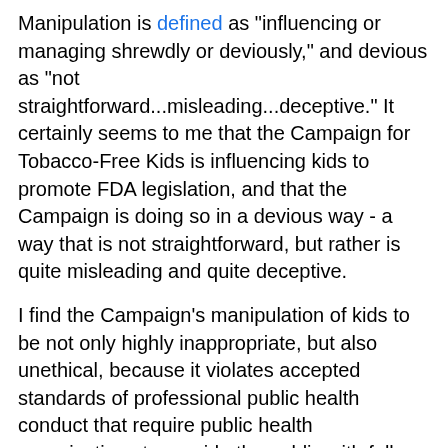Manipulation is defined as "influencing or managing shrewdly or deviously," and devious as "not straightforward...misleading...deceptive." It certainly seems to me that the Campaign for Tobacco-Free Kids is influencing kids to promote FDA legislation, and that the Campaign is doing so in a devious way - a way that is not straightforward, but rather is quite misleading and quite deceptive.
I find the Campaign's manipulation of kids to be not only highly inappropriate, but also unethical, because it violates accepted standards of professional public health conduct that require public health organizations to provide the public with full and accurate information that is necessary to make decisions on policies. This is what the APHA Public Health Code of Ethics calls the "community-level" equivalent of the individual-level ethical principle of informed consent:
"Public health institutions should provide communities with the information they have that is needed for decisions on policies or programs and should obtain the community's consent for their implementation. ... there is a moral